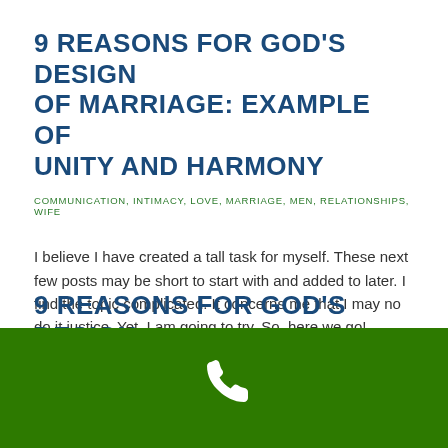9 REASONS FOR GOD'S DESIGN OF MARRIAGE: EXAMPLE OF UNITY AND HARMONY
COMMUNICATION, INTIMACY, LOVE, MARRIAGE, MEN, RELATIONSHIPS, WIFE
I believe I have created a tall task for myself. These next few posts may be short to start with and added to later. I find the topic complicated. It concerns me that I may no do it justice. Yet, I am going to try. So, here we go!
Read more >
9 REASONS FOR GOD'S DESIGN